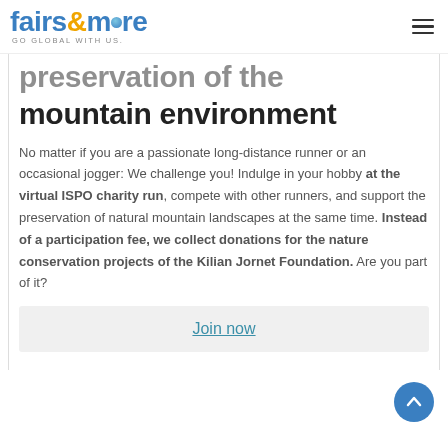fairs&more GO GLOBAL WITH US.
preservation of the mountain environment
No matter if you are a passionate long-distance runner or an occasional jogger: We challenge you! Indulge in your hobby at the virtual ISPO charity run, compete with other runners, and support the preservation of natural mountain landscapes at the same time. Instead of a participation fee, we collect donations for the nature conservation projects of the Kilian Jornet Foundation. Are you part of it?
Join now